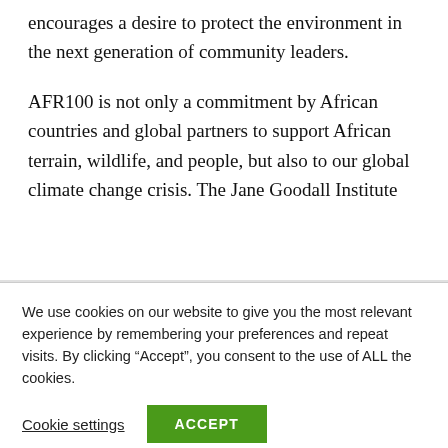encourages a desire to protect the environment in the next generation of community leaders.
AFR100 is not only a commitment by African countries and global partners to support African terrain, wildlife, and people, but also to our global climate change crisis. The Jane Goodall Institute
We use cookies on our website to give you the most relevant experience by remembering your preferences and repeat visits. By clicking “Accept”, you consent to the use of ALL the cookies.
Cookie settings
ACCEPT